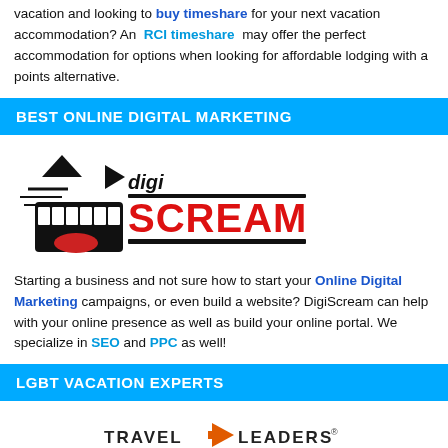vacation and looking to buy timeshare for your next vacation accommodation? An RCI timeshare may offer the perfect accommodation for options when looking for affordable lodging with a points alternative.
BEST ONLINE DIGITAL MARKETING
[Figure (logo): DigiScream logo — cartoon screaming mouth with triangle/arrow shapes, text 'digi SCREAM']
Starting a business and not sure how to start your Online Digital Marketing campaigns, or even build a website? DigiScream can help with your online presence as well as build your online portal. We specialize in SEO and PPC as well!
LGBT VACATION EXPERTS
[Figure (logo): Travel Leaders / Donovan Travel logo]